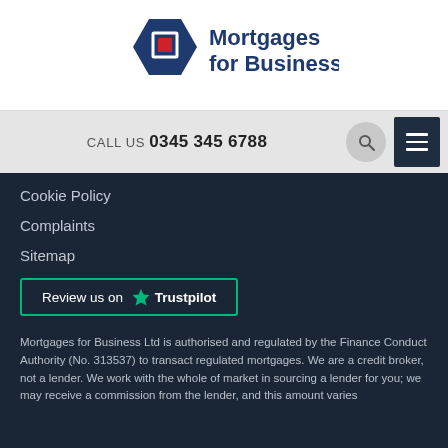[Figure (logo): Mortgages for Business logo with hexagonal blue and red icon and blue text reading 'Mortgages for Business']
CALL US 0345 345 6788
Cookie Policy
Complaints
Sitemap
[Figure (other): Review us on Trustpilot button with green star and green border]
Mortgages for Business Ltd is authorised and regulated by the Finance Conduct Authority (No. 313537) to transact regulated mortgages. We are a credit broker, not a lender. We work with the whole of market in sourcing a lender for you; we may receive a commission from the lender, and this amount varies